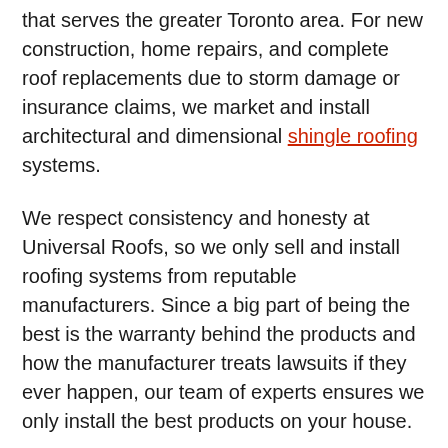that serves the greater Toronto area. For new construction, home repairs, and complete roof replacements due to storm damage or insurance claims, we market and install architectural and dimensional shingle roofing systems.
We respect consistency and honesty at Universal Roofs, so we only sell and install roofing systems from reputable manufacturers. Since a big part of being the best is the warranty behind the products and how the manufacturer treats lawsuits if they ever happen, our team of experts ensures we only install the best products on your house.
At Universal Roofs, we're watching out for you not only during your roof installation or replacement, but even 5, 10, 15, and even 25 years down the